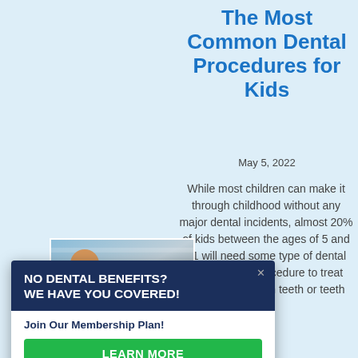The Most Common Dental Procedures for Kids
May 5, 2022
While most children can make it through childhood without any major dental incidents, almost 20% of kids between the ages of 5 and 11 will need some type of dental correction or procedure to treat missing or broken teeth or teeth
[Figure (photo): Child in dental chair, partially visible photo thumbnail]
NO DENTAL BENEFITS? WE HAVE YOU COVERED!
Join Our Membership Plan!
LEARN MORE